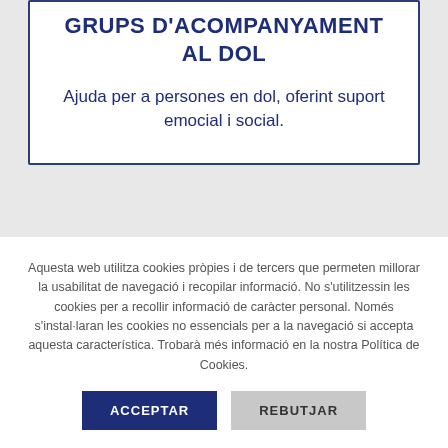GRUPS D'ACOMPANYAMENT AL DOL
Ajuda per a persones en dol, oferint suport emocial i social.
Aquesta web utilitza cookies pròpies i de tercers que permeten millorar la usabilitat de navegació i recopilar informació. No s'utilitzessin les cookies per a recollir informació de caràcter personal. Només s'instal·laran les cookies no essencials per a la navegació si accepta aquesta característica. Trobarà més informació en la nostra Política de Cookies.